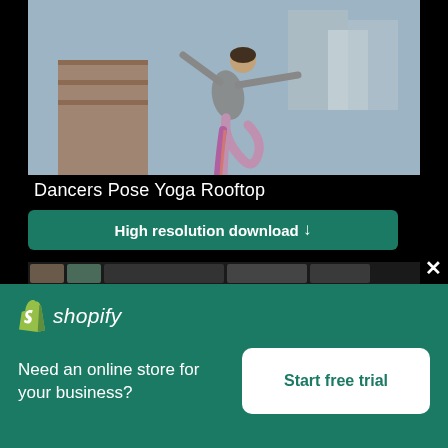[Figure (photo): Woman performing Dancers Pose Yoga on a rooftop with city buildings in the background. She is wearing colorful leggings and a gray tank top.]
Dancers Pose Yoga Rooftop
High resolution download ↓
[Figure (screenshot): Shopify advertisement panel with logo, tagline 'Need an online store for your business?' and a 'Start free trial' button]
Need an online store for your business?
Start free trial